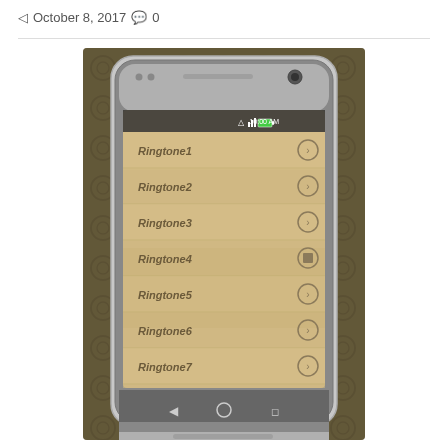October 8, 2017  0
[Figure (screenshot): A smartphone (HTC One style) displaying a mobile app with a parchment/old paper background, listing items: Ringtone1, Ringtone2, Ringtone3, Ringtone4, Ringtone5, Ringtone6, Ringtone7, Ringtone8 each with a chevron arrow icon on the right side. The phone sits on a decorative dark wallpaper background.]